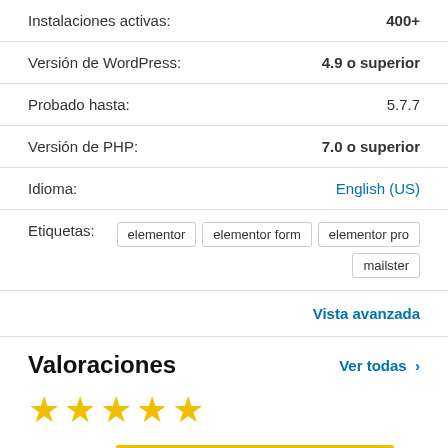| Instalaciones activas: | 400+ |
| Versión de WordPress: | 4.9 o superior |
| Probado hasta: | 5.7.7 |
| Versión de PHP: | 7.0 o superior |
| Idioma: | English (US) |
| Etiquetas: | elementor, elementor form, elementor pro, mailster |
Vista avanzada
Valoraciones
Ver todas >
[Figure (other): 5 gold stars rating]
5 estrellas  4
4 estrellas  0